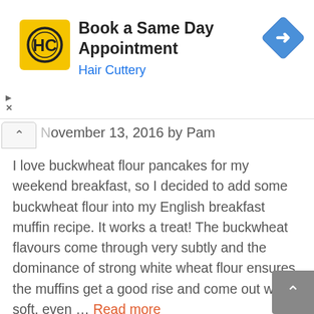[Figure (screenshot): Hair Cuttery advertisement banner with yellow HC logo, 'Book a Same Day Appointment' heading, 'Hair Cuttery' subtitle in blue, and blue diamond direction sign icon]
November 13, 2016 by Pam
I love buckwheat flour pancakes for my weekend breakfast, so I decided to add some buckwheat flour into my English breakfast muffin recipe. It works a treat! The buckwheat flavours come through very subtly and the dominance of strong white wheat flour ensures the muffins get a good rise and come out with a soft, even … Read more
Bread recipes, Breakfast recipes, Buckwheat flour recipes
Easy bread recipes, Quick bread recipes